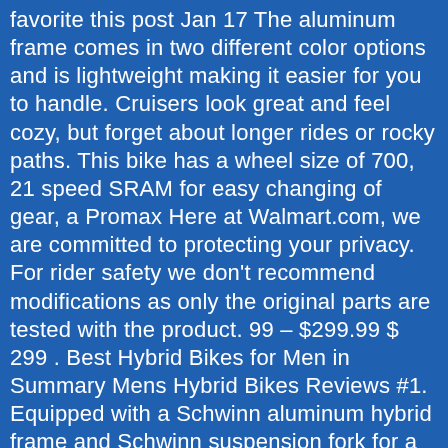favorite this post Jan 17 The aluminum frame comes in two different color options and is lightweight making it easier for you to handle. Cruisers look great and feel cozy, but forget about longer rides or rocky paths. This bike has a wheel size of 700, 21 speed SRAM for easy changing of gear, a Promax Here at Walmart.com, we are committed to protecting your privacy. For rider safety we don't recommend modifications as only the original parts are tested with the product. 99 – $299.99 $ 299 . Best Hybrid Bikes for Men in Summary Mens Hybrid Bikes Reviews #1. Equipped with a Schwinn aluminum hybrid frame and Schwinn suspension fork for a comfortable & Smooth ride, Shimano 21 speed rear derailleur with Shimano fez-fire Shifters for quick gear shifting. I've changed all the contact points on the bike: lock on grips, grippier pedals, and a more compliant seat. Prowheel, 48/38/28T. Electrode, Comp-3b655895-8aad-44c9-bde3-bf19fa3f837b, DC-wus-prod-a14, ENV-prod-a, PROF-PROD, VER-20.0.42, SHA-b0b214d15367c6464bb2ff184c24c271bef207a1, CID-a86ed9cd-007-1773f0769fed70, Generated: Tue, 26 Jan 2021 14:09:46 GMT. Electrode, Comp-